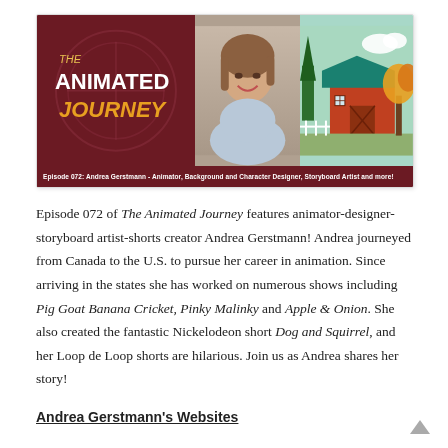[Figure (illustration): Podcast banner for 'The Animated Journey' Episode 072 featuring Andrea Gerstmann. Left third: dark maroon background with show logo text 'THE ANIMATED JOURNEY'. Center: photo of a young woman with brown hair smiling. Right: animated farm scene with red barn and teal roof. Bottom bar: caption text 'Episode 072: Andrea Gerstmann - Animator, Background and Character Designer, Storyboard Artist and more!']
Episode 072 of The Animated Journey features animator-designer-storyboard artist-shorts creator Andrea Gerstmann! Andrea journeyed from Canada to the U.S. to pursue her career in animation. Since arriving in the states she has worked on numerous shows including Pig Goat Banana Cricket, Pinky Malinky and Apple & Onion. She also created the fantastic Nickelodeon short Dog and Squirrel, and her Loop de Loop shorts are hilarious. Join us as Andrea shares her story!
Andrea Gerstmann's Websites